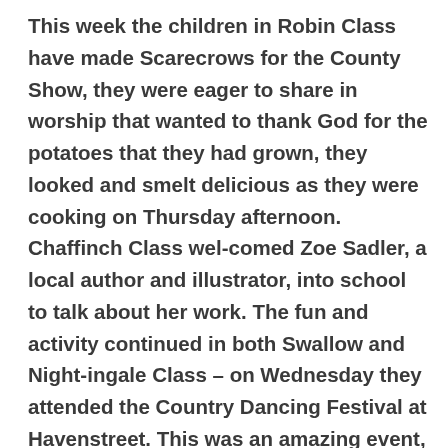This week the children in Robin Class have made Scarecrows for the County Show, they were eager to share in worship that wanted to thank God for the potatoes that they had grown, they looked and smelt delicious as they were cooking on Thursday afternoon. Chaffinch Class wel-comed Zoe Sadler, a local author and illustrator, into school to talk about her work. The fun and activity continued in both Swallow and Nightingale Class – on Wednesday they attended the Country Dancing Festival at Havenstreet. This was an amazing event, there were over 700 children taking part from many of the island's primary schools. A huge well done to the children, their behaviour was exemplary, their dancing was enthusiastic and a pleasure to watch. Our country dancers will have another opportunity to show their talent at the Shorwell Summer Fayre on Saturday. Do go along to Northcourt for 1.15pm and support the children as they entertain the crowds at